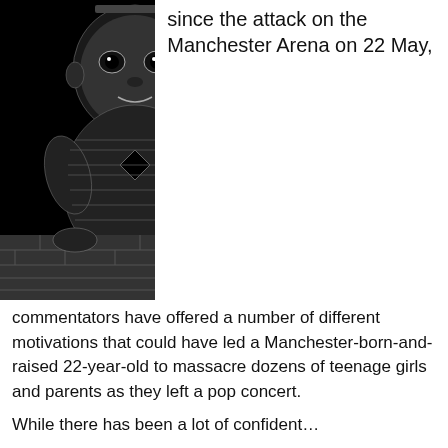[Figure (illustration): Black and white woodcut-style illustration of a baby/infant with a hole in its torso, leaning on a brick wall. Dark background.]
since the attack on the Manchester Arena on 22 May,
commentators have offered a number of different motivations that could have led a Manchester-born-and-raised 22-year-old to massacre dozens of teenage girls and parents as they left a pop concert.
While there has been a lot of confident…
MSB: Living in the real world